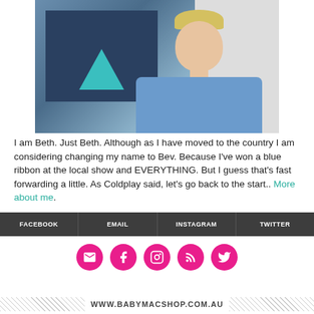[Figure (photo): Photo of Beth, a blonde woman with short hair wearing a denim shirt, smiling downward, with a dark abstract painting behind her]
I am Beth. Just Beth. Although as I have moved to the country I am considering changing my name to Bev. Because I've won a blue ribbon at the local show and EVERYTHING. But I guess that's fast forwarding a little. As Coldplay said, let's go back to the start.. More about me.
FACEBOOK | EMAIL | INSTAGRAM | TWITTER
[Figure (infographic): Five hot pink circular social media icon buttons: email, Facebook, Instagram, RSS, Twitter]
WWW.BABYMACSHOP.COM.AU